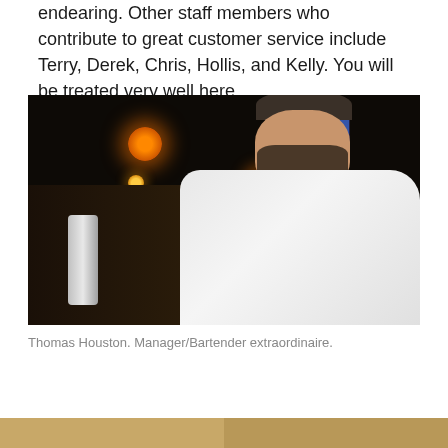endearing. Other staff members who contribute to great customer service include Terry, Derek, Chris, Hollis, and Kelly. You will be treated very well here.
[Figure (photo): A man in a white long-sleeve shirt with a seafood restaurant logo, dark hair and beard, leaning forward at a bar counter in a dimly lit restaurant with orange pendant lights in the background.]
Thomas Houston. Manager/Bartender extraordinaire.
[Figure (photo): Partial view of another photo at the bottom of the page, contents not fully visible.]